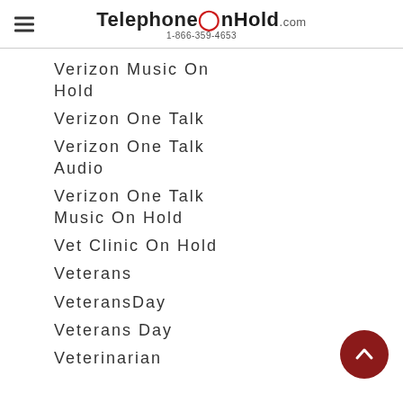TelephoneOnHold.com 1-866-359-4653
Verizon Music On Hold
Verizon One Talk
Verizon One Talk Audio
Verizon One Talk Music On Hold
Vet Clinic On Hold
Veterans
VeteransDay
Veterans Day
Veterinarian